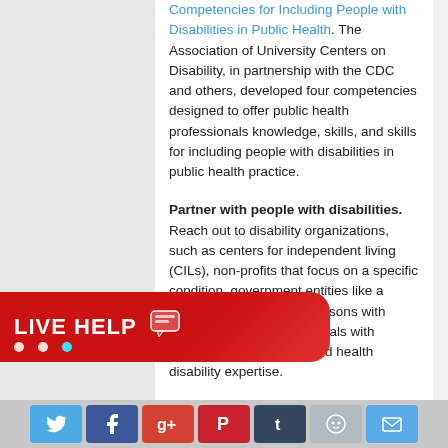Competencies for Including People with Disabilities in Public Health. The Association of University Centers on Disability, in partnership with the CDC and others, developed four competencies designed to offer public health professionals knowledge, skills, and skills for including people with disabilities in public health practice.
Partner with people with disabilities. Reach out to disability organizations, such as centers for independent living (CILs), non-profits that focus on a specific condition, government entities like a Mayor's Committee for Persons with Disabilities, and professionals with adapted recreation or allied health disability expertise.
Use resources to help you develop, assess, and sustain healthy community efforts that include people with disabilities. For example,
[Figure (other): Live Help chat button badge in red with white text and chat icon, with three dots below]
Social sharing buttons: Twitter, Facebook, Google+, Pinterest, Tumblr, Reddit, Email